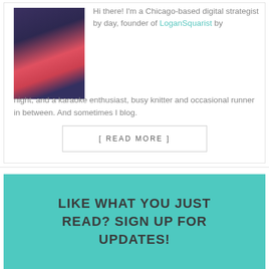[Figure (photo): Headshot of a woman with blonde hair wearing a navy blazer and pink/red scarf, smiling at camera]
Hi there! I'm a Chicago-based digital strategist by day, founder of LoganSquarist by night, and a karaoke enthusiast, busy knitter and occasional runner in between. And sometimes I blog.
[ READ MORE ]
LIKE WHAT YOU JUST READ? SIGN UP FOR UPDATES!